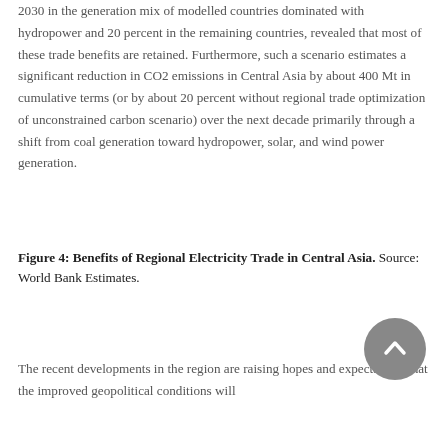2030 in the generation mix of modelled countries dominated with hydropower and 20 percent in the remaining countries, revealed that most of these trade benefits are retained. Furthermore, such a scenario estimates a significant reduction in CO2 emissions in Central Asia by about 400 Mt in cumulative terms (or by about 20 percent without regional trade optimization of unconstrained carbon scenario) over the next decade primarily through a shift from coal generation toward hydropower, solar, and wind power generation.
Figure 4: Benefits of Regional Electricity Trade in Central Asia. Source: World Bank Estimates.
The recent developments in the region are raising hopes and expectations that the improved geopolitical conditions will